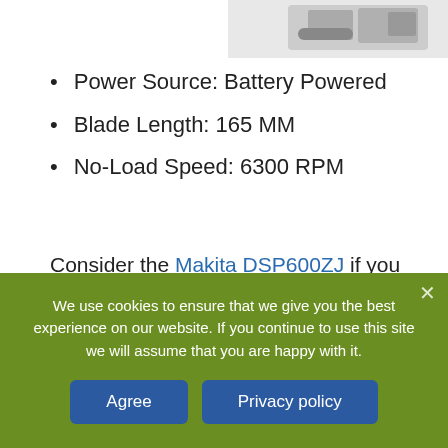[Figure (photo): Partial view of a power tool (plunge saw) in upper right corner]
Power Source: Battery Powered
Blade Length: 165 MM
No-Load Speed: 6300 RPM
Consider the Makita DSP600ZJ if you want to enjoy the convenience and freedom of a cordless budget plunge saw. It uses a 36V system, so you don't have to deal with any lack of power and inferior runtime. Moreover, this model has an impressive built and straightforward operation
We use cookies to ensure that we give you the best experience on our website. If you continue to use this site we will assume that you are happy with it.